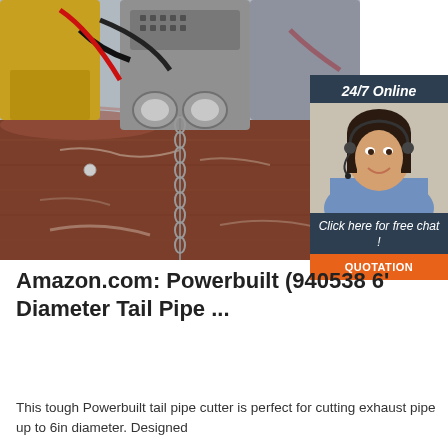[Figure (photo): Industrial pipe cutting machine gripping two large rusty steel pipes with a chain hanging down; yellow and gray machinery visible on top. Overlaid with a 24/7 online chat widget featuring a female customer service agent and an orange QUOTATION button.]
Amazon.com: Powerbuilt (940538 6' Diameter Tail Pipe ...
This tough Powerbuilt tail pipe cutter is perfect for cutting exhaust pipe up to 6in diameter. Designed...